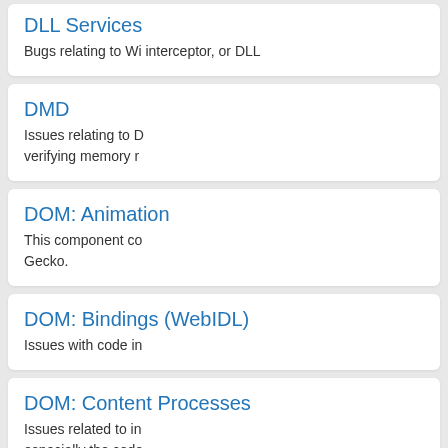DLL Services
Bugs relating to Wi interceptor, or DLL
DMD
Issues relating to D verifying memory r
DOM: Animation
This component co Gecko.
DOM: Bindings (WebIDL)
Issues with code in
DOM: Content Processes
Issues related to in especially the code (https://wiki.mozill
DOM: Copy & Paste and Drag &
All issues with cop